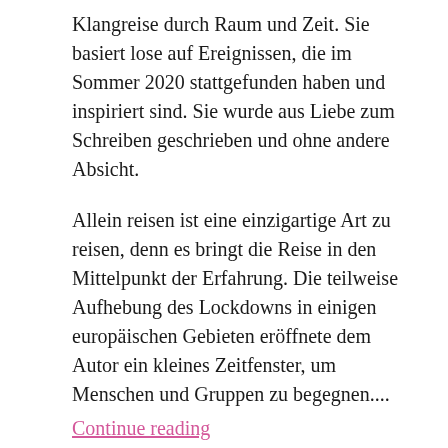Klangreise durch Raum und Zeit. Sie basiert lose auf Ereignissen, die im Sommer 2020 stattgefunden haben und inspiriert sind. Sie wurde aus Liebe zum Schreiben geschrieben und ohne andere Absicht.
Allein reisen ist eine einzigartige Art zu reisen, denn es bringt die Reise in den Mittelpunkt der Erfahrung. Die teilweise Aufhebung des Lockdowns in einigen europäischen Gebieten eröffnete dem Autor ein kleines Zeitfenster, um Menschen und Gruppen zu begegnen....
Continue reading
bort / Friday, der 14. August 2020 / Schreibe einen Kommentar